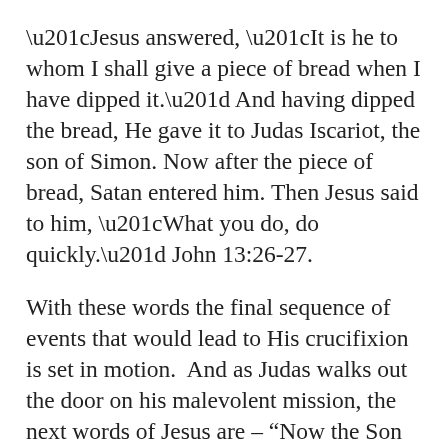“Jesus answered, “It is he to whom I shall give a piece of bread when I have dipped it.” And having dipped the bread, He gave it to Judas Iscariot, the son of Simon. Now after the piece of bread, Satan entered him. Then Jesus said to him, “What you do, do quickly.” John 13:26-27.
With these words the final sequence of events that would lead to His crucifixion is set in motion.  And as Judas walks out the door on his malevolent mission, the next words of Jesus are – “Now the Son of Man is glorified, and God is glorified in Him.”  John 13:31
NOW!  Not only at the resurrection, not only at the cross, not only at the ascension, but now...